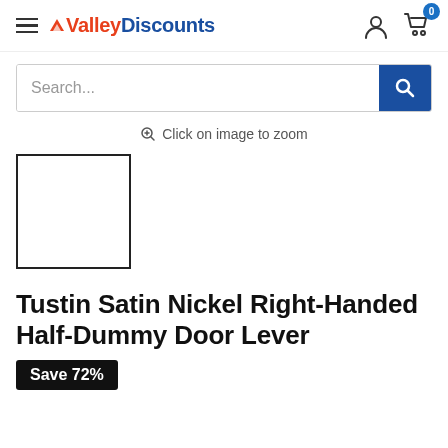ValleyDiscounts — navigation header with hamburger menu, logo, user icon, and cart with badge 0
Search...
Click on image to zoom
[Figure (photo): Product image placeholder — empty white square with black border]
Tustin Satin Nickel Right-Handed Half-Dummy Door Lever
Save 72%